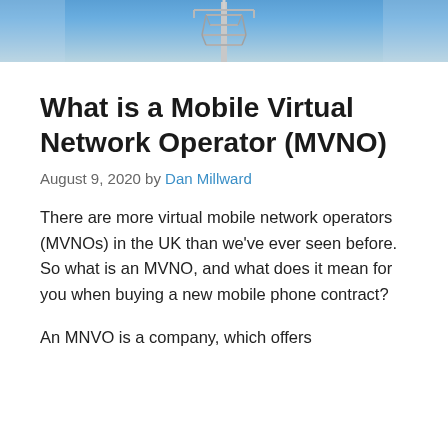[Figure (photo): Photograph of a telecommunications tower/mast against a blue sky, shown as a banner image at the top of the page.]
What is a Mobile Virtual Network Operator (MVNO)
August 9, 2020 by Dan Millward
There are more virtual mobile network operators (MVNOs) in the UK than we've ever seen before. So what is an MVNO, and what does it mean for you when buying a new mobile phone contract?
An MNVO is a company, which offers